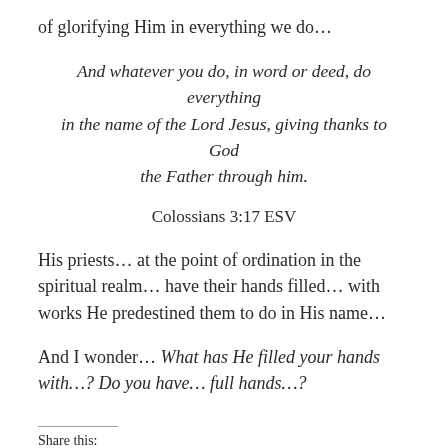of glorifying Him in everything we do…
And whatever you do, in word or deed, do everything in the name of the Lord Jesus, giving thanks to God the Father through him.
Colossians 3:17 ESV
His priests… at the point of ordination in the spiritual realm… have their hands filled… with works He predestined them to do in His name…
And I wonder… What has He filled your hands with…? Do you have… full hands…?
Share this: